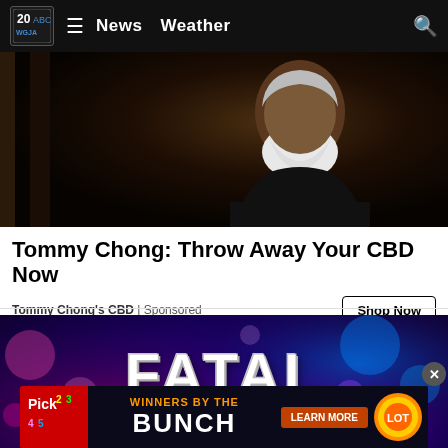20 ABC WGJA  ≡  News  Weather  🔍
[Figure (photo): Older man with white beard in dark clothing against a dark background]
Tommy Chong: Throw Away Your CBD Now
Tommy Chong's CBD | Sponsored
Shop Now
[Figure (photo): Dark dramatic image with bokeh police lights in purple and blue, featuring large white distressed text reading 'FATAL CRASH']
[Figure (infographic): Lottery advertisement banner: Pick 2 3 4 5 logo, 'WINNERS BY THE BUNCH', LEARN MORE button, lottery ball logo]